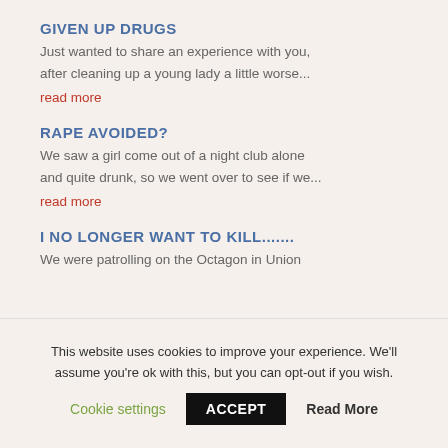GIVEN UP DRUGS
Just wanted to share an experience with you, after cleaning up a young lady a little worse...
read more
RAPE AVOIDED?
We saw a girl come out of a night club alone and quite drunk, so we went over to see if we...
read more
I NO LONGER WANT TO KILL.......
We were patrolling on the Octagon in Union
This website uses cookies to improve your experience. We'll assume you're ok with this, but you can opt-out if you wish.
Cookie settings   ACCEPT   Read More